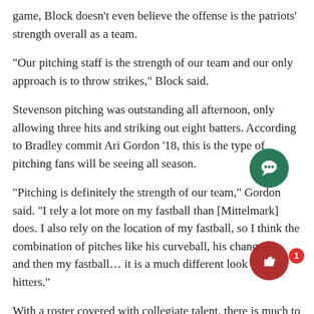game, Block doesn't even believe the offense is the patriots' strength overall as a team.
“Our pitching staff is the strength of our team and our only approach is to throw strikes,” Block said.
Stevenson pitching was outstanding all afternoon, only allowing three hits and striking out eight batters. According to Bradley commit Ari Gordon ’18, this is the type of pitching fans will be seeing all season.
“Pitching is definitely the strength of our team,” Gordon said. “I rely a lot more on my fastball than [Mittelmark] does. I also rely on the location of my fastball, so I think the combination of pitches like his curveball, his change up, and then my fastball… it is a much different look for the hitters.”
With a roster covered with collegiate talent, there is much to rave ab… when it comes to this team. Although the lineup consisted of three… at the top of the lineup, Block says that is subject to change as the season progresses.
“This will not be the lineup… will be going all season and I don’t b…